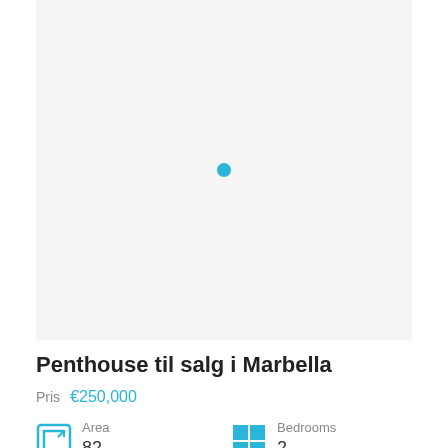[Figure (photo): Property image placeholder area with a blue loading dot in the center]
Penthouse til salg i Marbella
Pris €250,000
Area 82
Bedrooms 2
Bathrooms
Type